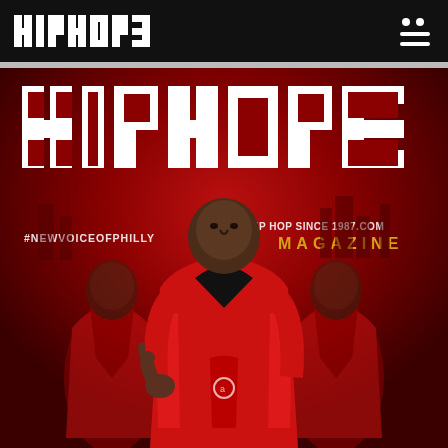HIPHOP3 [navigation bar with logo and menu icon]
[Figure (photo): HipHop3 Magazine cover featuring a man in a red shiny jacket posing in the center with two mirrored/ghost versions of himself on either side against a dark red brick background. Large HIPHOP3 logo at top, #NEWVOICEOFPHILLY on lower left, HIPHOPSINCE1987.COM and MAGAZINE text on right.]